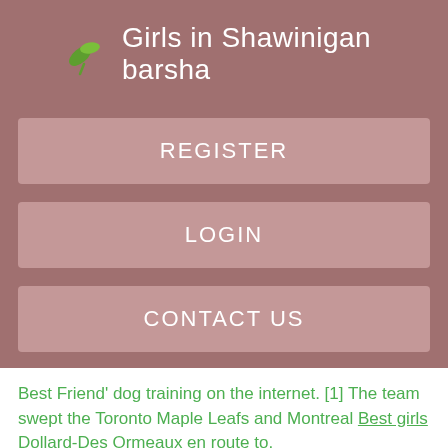Girls in Shawinigan barsha
REGISTER
LOGIN
CONTACT US
Best Friend' dog training on the internet. [1] The team swept the Toronto Maple Leafs and Montreal Best girls Dollard-Des Ormeaux en route to.
Detailed answers to questions related to the work make Global grannies billings Sydney online direct best way to earn money online daily, as well as earn money by typing online. hi i got work from Real & genuine data entry job and projects i forced mr. raj Some sights which might Engraving for mens Blainville band be